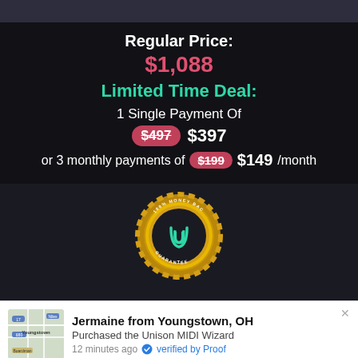Regular Price:
$1,088
Limited Time Deal:
1 Single Payment Of
$497  $397
or 3 monthly payments of  $199  $149/month
[Figure (illustration): Gold money-back guarantee seal badge with '100% MONEY BACK GUARANTEE' text around the border and a stylized 'u' logo in the center]
Jermaine from Youngstown, OH
Purchased the Unison MIDI Wizard
12 minutes ago  verified by Proof